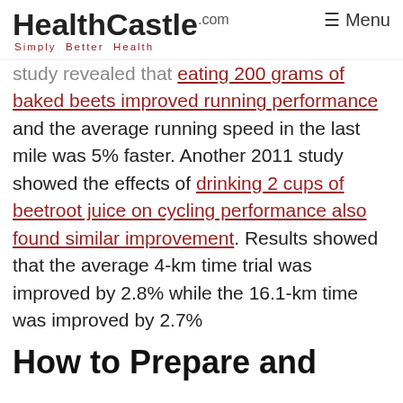HealthCastle.com Simply Better Health | Menu
study revealed that eating 200 grams of baked beets improved running performance and the average running speed in the last mile was 5% faster. Another 2011 study showed the effects of drinking 2 cups of beetroot juice on cycling performance also found similar improvement. Results showed that the average 4-km time trial was improved by 2.8% while the 16.1-km time was improved by 2.7%
How to Prepare and